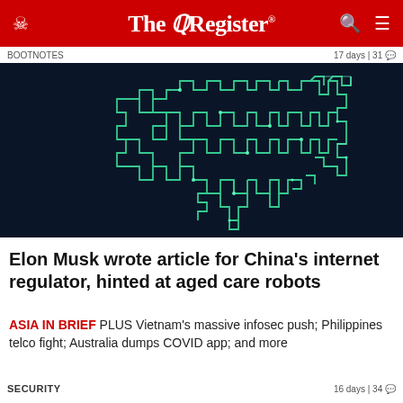The Register
BOOTNOTES   17 days | 31
[Figure (illustration): Dark navy blue background with a glowing circuit-board style map outline of Asia, rendered in light green/teal lines forming the shape of the Asian continent including Southeast Asia.]
Elon Musk wrote article for China's internet regulator, hinted at aged care robots
ASIA IN BRIEF PLUS Vietnam's massive infosec push; Philippines telco fight; Australia dumps COVID app; and more
SECURITY   16 days | 34